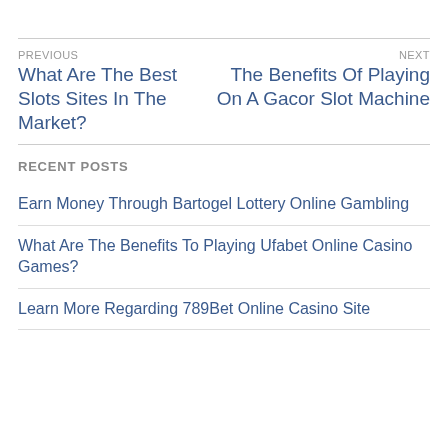PREVIOUS | NEXT
What Are The Best Slots Sites In The Market?
The Benefits Of Playing On A Gacor Slot Machine
RECENT POSTS
Earn Money Through Bartogel Lottery Online Gambling
What Are The Benefits To Playing Ufabet Online Casino Games?
Learn More Regarding 789Bet Online Casino Site